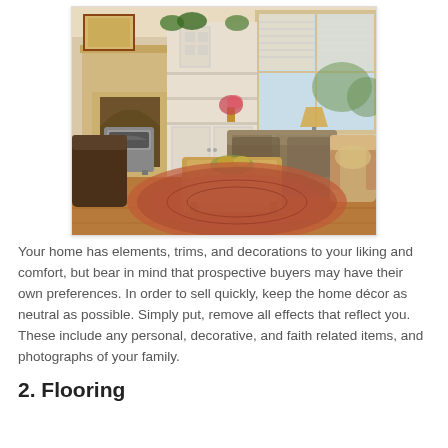[Figure (photo): Interior photo of a cozy living room with a fireplace, white built-in cabinets, patterned sofas, a wooden coffee table, a decorative rug, and large windows with shutters letting in natural light.]
Your home has elements, trims, and decorations to your liking and comfort, but bear in mind that prospective buyers may have their own preferences. In order to sell quickly, keep the home décor as neutral as possible. Simply put, remove all effects that reflect you. These include any personal, decorative, and faith related items, and photographs of your family.
2. Flooring